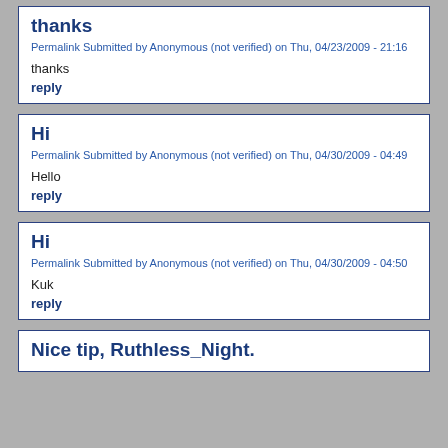thanks
Permalink Submitted by Anonymous (not verified) on Thu, 04/23/2009 - 21:16
thanks
reply
Hi
Permalink Submitted by Anonymous (not verified) on Thu, 04/30/2009 - 04:49
Hello
reply
Hi
Permalink Submitted by Anonymous (not verified) on Thu, 04/30/2009 - 04:50
Kuk
reply
Nice tip, Ruthless_Night.